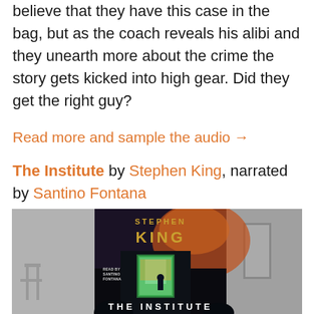believe that they have this case in the bag, but as the coach reveals his alibi and they unearth more about the crime the story gets kicked into high gear. Did they get the right guy?
Read more and sample the audio →
The Institute by Stephen King, narrated by Santino Fontana
[Figure (photo): Book cover of 'The Institute' by Stephen King, read by Santino Fontana. Dark cover showing a figure silhouetted in a glowing green doorway/window against a dramatic orange sky, with the author name STEPHEN KING in gold letters at the top and THE INSTITUTE at the bottom. The image is flanked by gray-scale background images.]